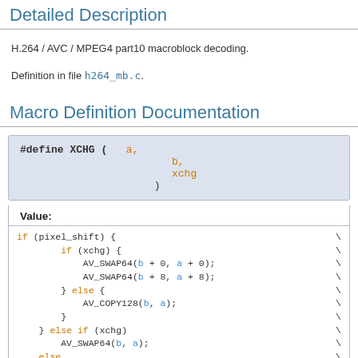Detailed Description
H.264 / AVC / MPEG4 part10 macroblock decoding.
Definition in file h264_mb.c.
Macro Definition Documentation
Value:
if (pixel_shift) { \
        if (xchg) { \
            AV_SWAP64(b + 0, a + 0); \
            AV_SWAP64(b + 8, a + 8); \
        } else { \
            AV_COPY128(b, a); \
        } \
    } else if (xchg) \
        AV_SWAP64(b, a); \
    else \
        AV_COPY64(b, ...